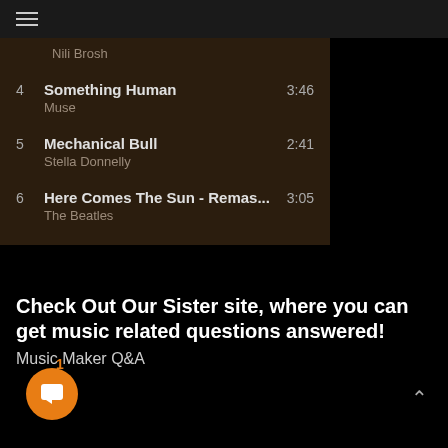☰
Nili Brosh
4  Something Human  3:46
Muse
5  Mechanical Bull  2:41
Stella Donnelly
6  Here Comes The Sun - Remas...  3:05
The Beatles
Check Out Our Sister site, where you can get music related questions answered!
Music Maker Q&A